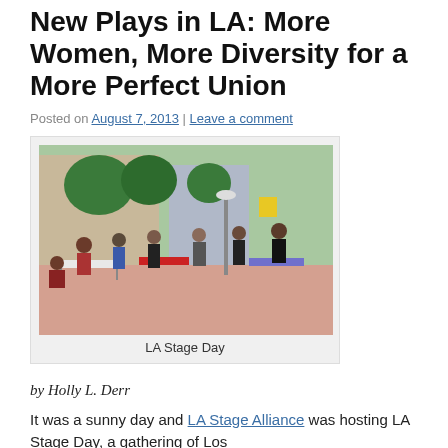New Plays in LA: More Women, More Diversity for a More Perfect Union
Posted on August 7, 2013 | Leave a comment
[Figure (photo): Outdoor gathering at LA Stage Day showing people standing and sitting at tables on a sunny day with trees and buildings in the background.]
LA Stage Day
by Holly L. Derr
It was a sunny day and LA Stage Alliance was hosting LA Stage Day, a gathering of Los